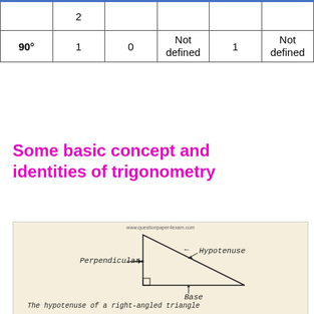| Angle | sin | cos | tan | cosec | cot |
| --- | --- | --- | --- | --- | --- |
|  | 2 |  |  |  |  |
| 90° | 1 | 0 | Not defined | 1 | Not defined |
Some basic concept and identities of trigonometry
[Figure (illustration): Handwritten diagram of a right-angled triangle with labels: Perpendicular (vertical side), Hypotenuse (slanted side), Base (horizontal side). Below the triangle: 'The hypotenuse of a right-angled triangle is the side opposite its right angle. first remember this formulae Sin θ = P | Cosec θ = H    P= Perpendicular']